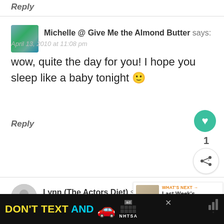Reply
Michelle @ Give Me the Almond Butter says:
April 13, 2010 at 11:08 pm

wow, quite the day for you! I hope you sleep like a baby tonight 🙂
Reply
Lynn (The Actors Diet) says:
April 13, 2010 at 11:46 pm

grilled mac and cheese balls
[Figure (screenshot): WHAT'S NEXT arrow, Last Week's Workouts {3...]
[Figure (infographic): DON'T TEXT AND [car emoji] ad bar with NHTSA logo]